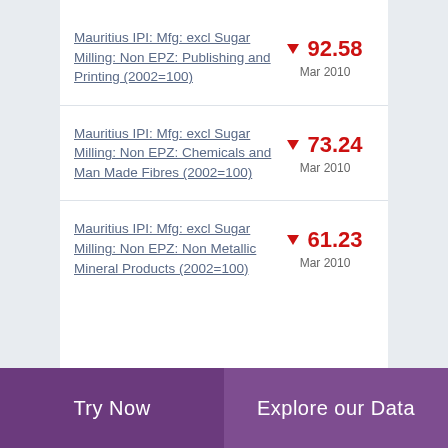Mauritius IPI: Mfg: excl Sugar Milling: Non EPZ: Publishing and Printing (2002=100)
Mauritius IPI: Mfg: excl Sugar Milling: Non EPZ: Chemicals and Man Made Fibres (2002=100)
Mauritius IPI: Mfg: excl Sugar Milling: Non EPZ: Non Metallic Mineral Products (2002=100)
Try Now | Explore our Data